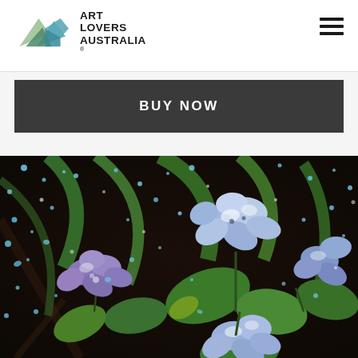Art Lovers Australia
BUY NOW
[Figure (illustration): Painting of blue and purple hydrangea flowers with green leaves on a dark background scattered with bright blue and white paint splatter dots, creating a starry or sparkling effect. The flowers are rendered in shades of blue, lavender, and white.]